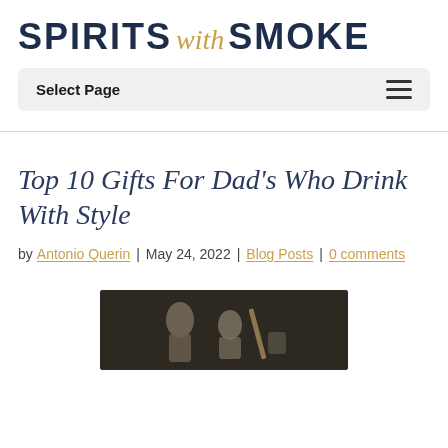SPIRITS with SMOKE
Select Page
Top 10 Gifts For Dad's Who Drink With Style
by Antonio Querin | May 24, 2022 | Blog Posts | 0 comments
[Figure (photo): Dark background photo of bar tools including cocktail shaker and other bartending equipment]